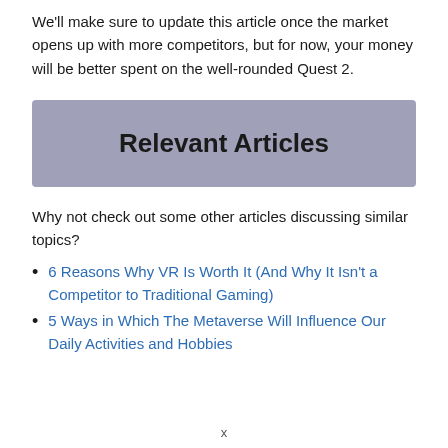We'll make sure to update this article once the market opens up with more competitors, but for now, your money will be better spent on the well-rounded Quest 2.
Relevant Articles
Why not check out some other articles discussing similar topics?
6 Reasons Why VR Is Worth It (And Why It Isn't a Competitor to Traditional Gaming)
5 Ways in Which The Metaverse Will Influence Our Daily Activities and Hobbies